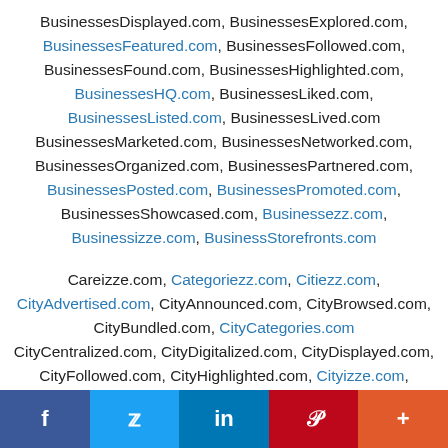BusinessesDisplayed.com, BusinessesExplored.com, BusinessesFeatured.com, BusinessesFollowed.com, BusinessesFound.com, BusinessesHighlighted.com, BusinessesHQ.com, BusinessesLiked.com, BusinessesListed.com, BusinessesLived.com BusinessesMarketed.com, BusinessesNetworked.com, BusinessesOrganized.com, BusinessesPartnered.com, BusinessesPosted.com, BusinessesPromoted.com, BusinessesShowcased.com, Businessezz.com, Businessizze.com, BusinessStorefronts.com
Careizze.com, Categoriezz.com, Citiezz.com, CityAdvertised.com, CityAnnounced.com, CityBrowsed.com, CityBundled.com, CityCategories.com CityCentralized.com, CityDigitalized.com, CityDisplayed.com, CityFollowed.com, CityHighlighted.com, Cityizze.com, CityLifestyled.com, CityLiked.com, CityLived.com, CityMarketed.com, CityNetworked.com, CityOrganized.com
f  t  in  P  +